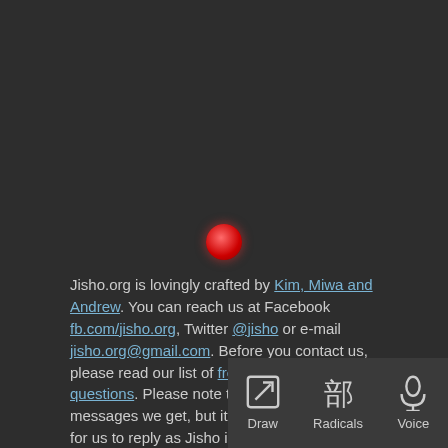[Figure (other): Red glowing circle/dot centered on dark background, representing a recording or voice indicator]
Jisho.org is lovingly crafted by Kim, Miwa and Andrew. You can reach us at Facebook fb.com/jisho.org, Twitter @jisho or e-mail jisho.org@gmail.com. Before you contact us, please read our list of frequently asked questions. Please note that we read all messages we get, but it can take a long time for us to reply as Jisho is a side project and we do not have very much time to devote to it.
This site uses the JMdict, Kanjidic2, JMnedict and Radkfile dictionary files. These files are the property of the Electronic Dictionary Research and Development Group, and are used in conformance with the Group's licence.
Example sentences come from the Tatoeba project and are licensed under Creative Commons CC-BY.
[Figure (screenshot): Bottom navigation bar with Draw, Radicals, and Voice icons on dark background]